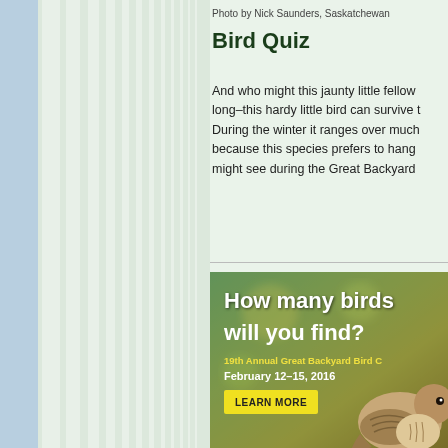Photo by Nick Saunders, Saskatchewan
Bird Quiz
And who might this jaunty little fellow long–this hardy little bird can survive t During the winter it ranges over much because this species prefers to hang might see during the Great Backyard
[Figure (infographic): Advertisement for 19th Annual Great Backyard Bird Count. Shows text 'How many birds will you find?' with yellow subtitle '19th Annual Great Backyard Bird C' and date 'February 12–15, 2016', a yellow LEARN MORE button, and a photo of a small bird (likely a sparrow) in the lower right corner against a blurred yellow-green background.]